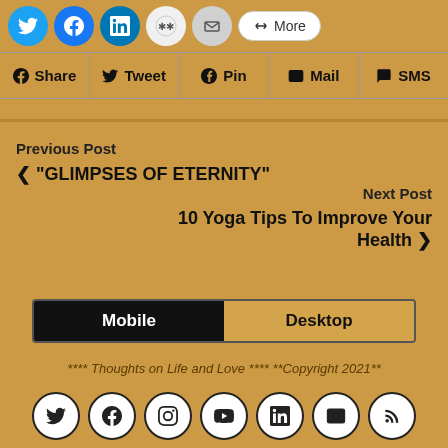[Figure (screenshot): Social share icons row: Twitter, Facebook, LinkedIn, misc, email circles, and a More button]
[Figure (screenshot): Social share bar with f Share, Tweet, Pin, Mail, SMS buttons]
Previous Post
< "GLIMPSES OF ETERNITY"
Next Post
10 Yoga Tips To Improve Your Health >
[Figure (screenshot): Mobile / Desktop toggle buttons]
**** Thoughts on Life and Love **** **Copyright 2021**
[Figure (screenshot): Row of social media icon circles: Twitter, Facebook, Instagram, YouTube, LinkedIn, Email, RSS]